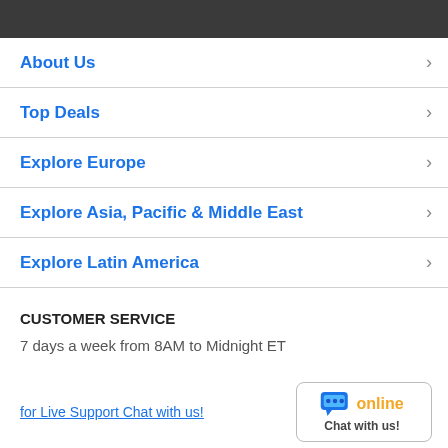About Us
Top Deals
Explore Europe
Explore Asia, Pacific & Middle East
Explore Latin America
CUSTOMER SERVICE
7 days a week from 8AM to Midnight ET
for Live Support Chat with us!
[Figure (other): Online chat widget with speech bubble icon, 'online' text in orange, and 'Chat with us!' label]